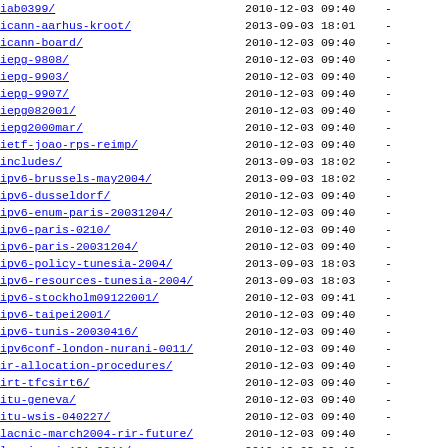iab0399/  2010-12-03 09:40  -
icann-aarhus-kroot/  2013-09-03 18:01  -
icann-board/  2010-12-03 09:40  -
iepg-9808/  2010-12-03 09:40  -
iepg-9903/  2010-12-03 09:40  -
iepg-9907/  2010-12-03 09:40  -
iepg082001/  2010-12-03 09:40  -
iepg2000mar/  2010-12-03 09:40  -
ietf-joao-rps-reimp/  2010-12-03 09:40  -
includes/  2013-09-03 18:02  -
ipv6-brussels-may2004/  2013-09-03 18:02  -
ipv6-dusseldorf/  2010-12-03 09:40  -
ipv6-enum-paris-20031204/  2010-12-03 09:40  -
ipv6-paris-0210/  2010-12-03 09:40  -
ipv6-paris-20031204/  2010-12-03 09:40  -
ipv6-policy-tunesia-2004/  2013-09-03 18:03  -
ipv6-resources-tunesia-2004/  2013-09-03 18:03  -
ipv6-stockholm09122001/  2010-12-03 09:41  -
ipv6-taipei2001/  2010-12-03 09:40  -
ipv6-tunis-20030416/  2010-12-03 09:40  -
ipv6conf-london-nurani-0011/  2010-12-03 09:40  -
ir-allocation-procedures/  2010-12-03 09:40  -
irt-tfcsirt6/  2010-12-03 09:40  -
itu-geneva/  2010-12-03 09:40  -
itu-wsis-040227/  2010-12-03 09:40  -
lacnic-march2004-rir-future/  2010-12-03 09:40  -
lacnic-rir101-0211/  2010-12-03 09:40  -
lacnic0211-jointrir-stats/  2010-12-03 09:40  -
lacnic7-ncc/  2013-09-03 18:06  -
lacnicIV-ncc-update/  2010-12-03 09:40  -